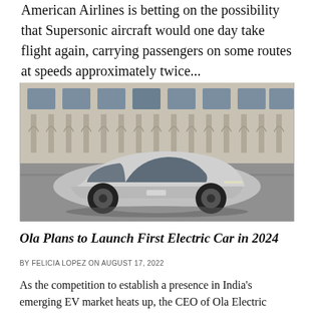American Airlines is betting on the possibility that Supersonic aircraft would one day take flight again, carrying passengers on some routes at speeds approximately twice...
[Figure (photo): A sleek silver futuristic electric concept car photographed outdoors in front of a classical building with arched columns.]
Ola Plans to Launch First Electric Car in 2024
BY FELICIA LOPEZ ON AUGUST 17, 2022
As the competition to establish a presence in India's emerging EV market heats up, the CEO of Ola Electric